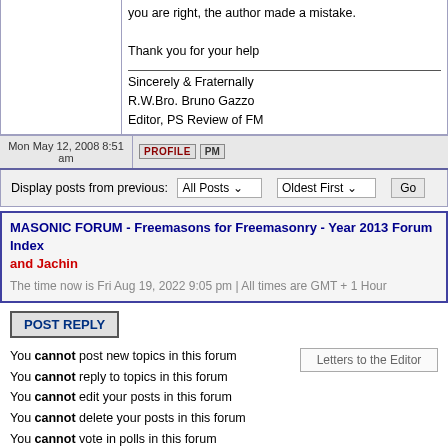you are right, the author made a mistake.

Thank you for your help
Sincerely & Fraternally
R.W.Bro. Bruno Gazzo
Editor, PS Review of FM
Mon May 12, 2008 8:51 am
PROFILE  PM
Display posts from previous:  All Posts  Oldest First  Go
MASONIC FORUM - Freemasons for Freemasonry - Year 2013 Forum Index and Jachin
The time now is Fri Aug 19, 2022 9:05 pm | All times are GMT + 1 Hour
POST REPLY
You cannot post new topics in this forum
You cannot reply to topics in this forum
You cannot edit your posts in this forum
You cannot delete your posts in this forum
You cannot vote in polls in this forum
Letters to the Editor
Protected by Anti-Spam ACP
Copyright © 1996 - 2022 © - PIETRE-STONES REVIEW OF FREEMASONRY
No part of this website may be reproduced, downloaded, stored, or transmitted by any means, without prior permission in writing from the copyright
The papers published are the responsibility of the authors and do not necessarily reflect the opinions of the Review nor those of any other regular Masonic body